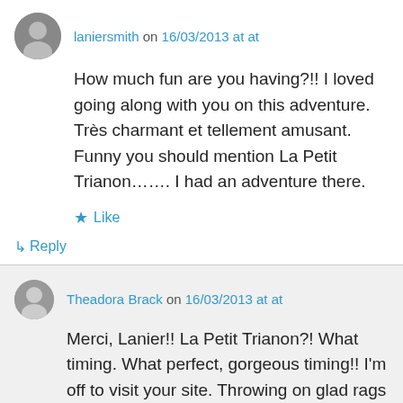laniersmith on 16/03/2013 at at
How much fun are you having?!! I loved going along with you on this adventure. Très charmant et tellement amusant. Funny you should mention La Petit Trianon……. I had an adventure there.
★ Like
↳ Reply
Theadora Brack on 16/03/2013 at at
Merci, Lanier!! La Petit Trianon?! What timing. What perfect, gorgeous timing!! I'm off to visit your site. Throwing on glad rags now, along with my newly acquired scent: